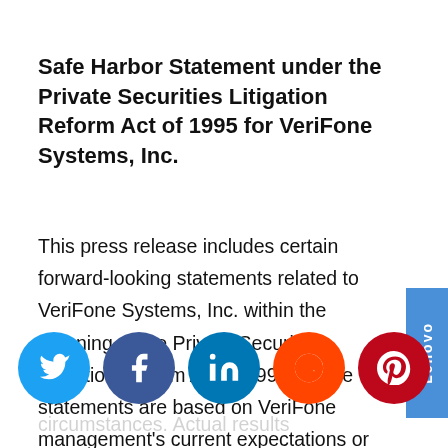Safe Harbor Statement under the Private Securities Litigation Reform Act of 1995 for VeriFone Systems, Inc.
This press release includes certain forward-looking statements related to VeriFone Systems, Inc. within the meaning of the Private Securities Litigation Reform Act of 1995. These statements are based on VeriFone management's current expectations or beliefs and are subject to circumstances. Actual results...